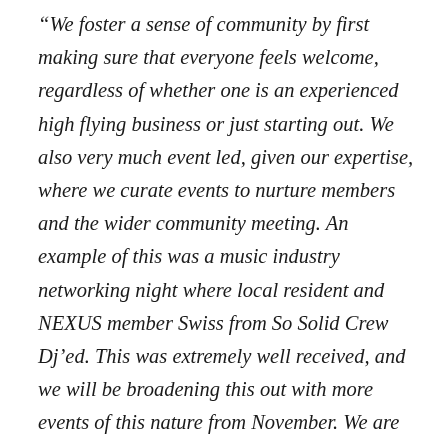“We foster a sense of community by first making sure that everyone feels welcome, regardless of whether one is an experienced high flying business or just starting out. We also very much event led, given our expertise, where we curate events to nurture members and the wider community meeting. An example of this was a music industry networking night where local resident and NEXUS member Swiss from So Solid Crew Dj’ed. This was extremely well received, and we will be broadening this out with more events of this nature from November. We are also welcoming leadership accelerator Reena Dayal to talk about how our members can master the art and science of effortless leadership and learn to unlock their hidden creative potential.